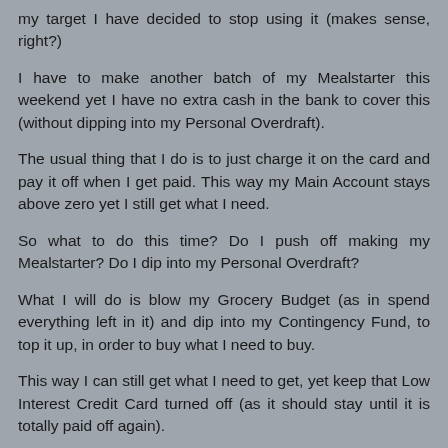my target I have decided to stop using it (makes sense, right?)
I have to make another batch of my Mealstarter this weekend yet I have no extra cash in the bank to cover this (without dipping into my Personal Overdraft).
The usual thing that I do is to just charge it on the card and pay it off when I get paid. This way my Main Account stays above zero yet I still get what I need.
So what to do this time? Do I push off making my Mealstarter? Do I dip into my Personal Overdraft?
What I will do is blow my Grocery Budget (as in spend everything left in it) and dip into my Contingency Fund, to top it up, in order to buy what I need to buy.
This way I can still get what I need to get, yet keep that Low Interest Credit Card turned off (as it should stay until it is totally paid off again).